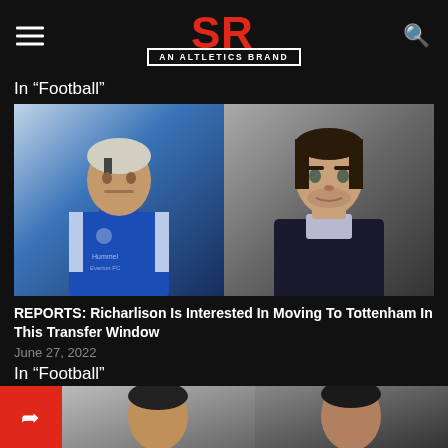SR - AN ALTLETICS BRAND
In "Football"
[Figure (photo): Two-panel photo: left shows Richarlison in Everton blue kit, right shows Antonio Conte at press conference]
REPORTS: Richarlison Is Interested In Moving To Tottenham In This Transfer Window
June 27, 2022
In "Football"
[Figure (photo): Bottom strip showing partial photos of two people, with red share button on left]